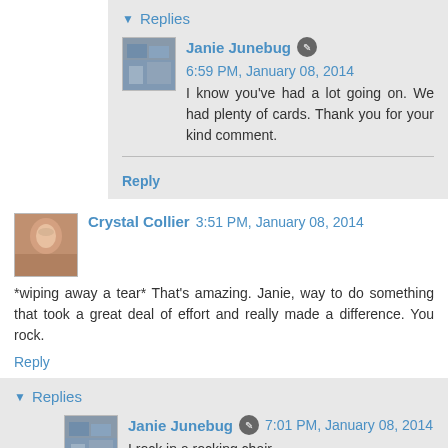▾ Replies
Janie Junebug ✎ 6:59 PM, January 08, 2014
I know you've had a lot going on. We had plenty of cards. Thank you for your kind comment.
Reply
Crystal Collier 3:51 PM, January 08, 2014
*wiping away a tear* That's amazing. Janie, way to do something that took a great deal of effort and really made a difference. You rock.
Reply
▾ Replies
Janie Junebug ✎ 7:01 PM, January 08, 2014
I rock in a rocking chair.